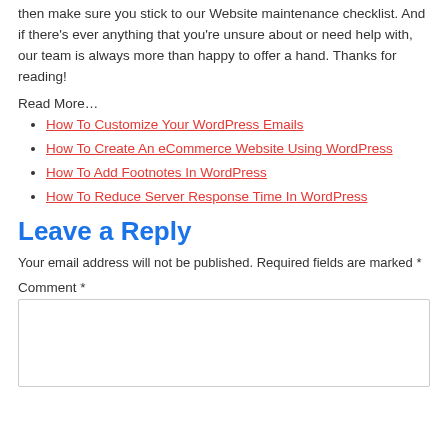then make sure you stick to our Website maintenance checklist. And if there's ever anything that you're unsure about or need help with, our team is always more than happy to offer a hand. Thanks for reading!
Read More…
How To Customize Your WordPress Emails
How To Create An eCommerce Website Using WordPress
How To Add Footnotes In WordPress
How To Reduce Server Response Time In WordPress
Leave a Reply
Your email address will not be published. Required fields are marked *
Comment *